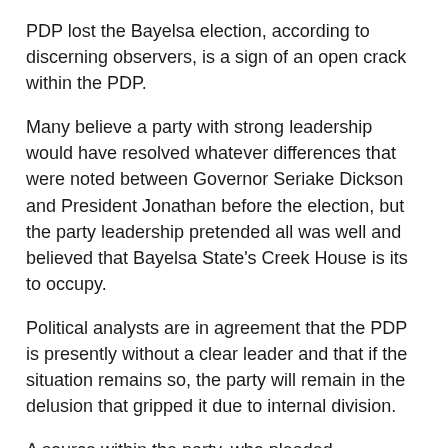PDP lost the Bayelsa election, according to discerning observers, is a sign of an open crack within the PDP.
Many believe a party with strong leadership would have resolved whatever differences that were noted between Governor Seriake Dickson and President Jonathan before the election, but the party leadership pretended all was well and believed that Bayelsa State's Creek House is its to occupy.
Political analysts are in agreement that the PDP is presently without a clear leader and that if the situation remains so, the party will remain in the delusion that gripped it due to internal division.
A source within the party, who pleaded anonymity, said the leadership challenge facing the party will fester, except something urgent and drastic is done.